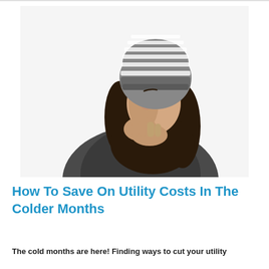[Figure (photo): A woman wearing a striped winter beanie hat and dark scarf/jacket, with her hands clasped together near her mouth as if warming them from the cold. The background is white.]
How To Save On Utility Costs In The Colder Months
The cold months are here! Finding ways to cut your utility